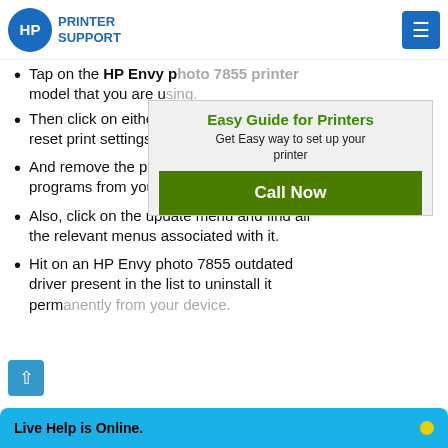HP PRINTER SUPPORT
Tap on the HP Envy photo 7855 printer model that you are using.
Then click on either the uninstall menu or reset print settings.
And remove the particular printer programs from your device.
Also, click on the update menu and find all the relevant menus associated with it.
Hit on an HP Envy photo 7855 outdated driver present in the list to uninstall it permanently from your device.
[Figure (screenshot): Easy Guide for Printers popup with green Call Now button]